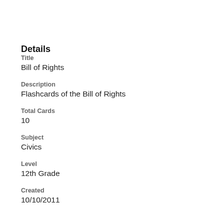Details
Title
Bill of Rights
Description
Flashcards of the Bill of Rights
Total Cards
10
Subject
Civics
Level
12th Grade
Created
10/10/2011